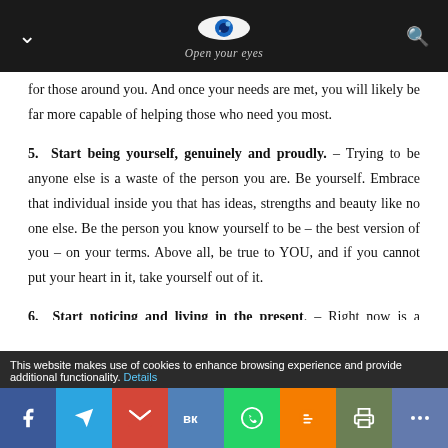Open your eyes — navigation header with logo
for those around you. And once your needs are met, you will likely be far more capable of helping those who need you most.
5. Start being yourself, genuinely and proudly. – Trying to be anyone else is a waste of the person you are. Be yourself. Embrace that individual inside you that has ideas, strengths and beauty like no one else. Be the person you know yourself to be – the best version of you – on your terms. Above all, be true to YOU, and if you cannot put your heart in it, take yourself out of it.
6. Start noticing and living in the present. – Right now is a miracle. Right now is the only moment guaranteed to you. Right
This website makes use of cookies to enhance browsing experience and provide additional functionality. Details
Share buttons: Facebook, Telegram, Gmail, VK, WhatsApp, Blogger, Print, More